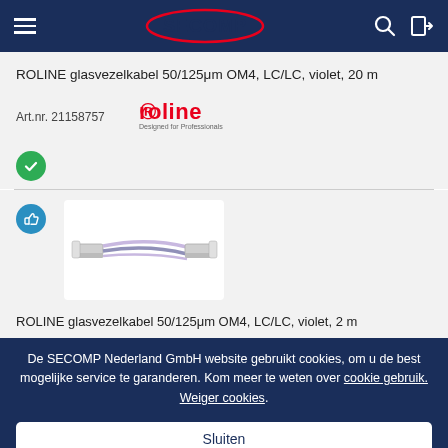SECOMP header navigation with logo
ROLINE glasvezelkabel 50/125μm OM4, LC/LC, violet, 20 m
Art.nr. 21158757
[Figure (logo): Roline brand logo with text 'Designed for Professionals']
[Figure (illustration): Green circle with white checkmark icon]
[Figure (illustration): Blue circle with white thumbs-up icon]
[Figure (photo): Photo of ROLINE fiber optic cable LC/LC violet duplex patch cord]
ROLINE glasvezelkabel 50/125μm OM4, LC/LC, violet, 2 m
De SECOMP Nederland GmbH website gebruikt cookies, om u de best mogelijke service te garanderen. Kom meer te weten over cookie gebruik. Weiger cookies.
Sluiten